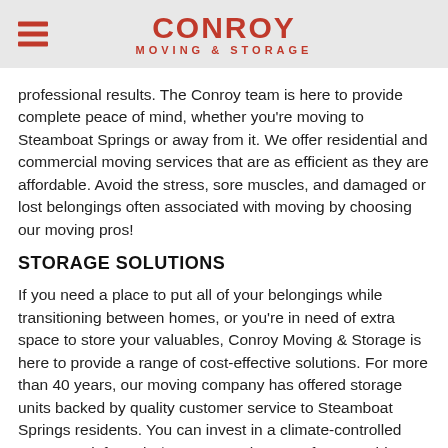CONROY MOVING & STORAGE
professional results. The Conroy team is here to provide complete peace of mind, whether you're moving to Steamboat Springs or away from it. We offer residential and commercial moving services that are as efficient as they are affordable. Avoid the stress, sore muscles, and damaged or lost belongings often associated with moving by choosing our moving pros!
STORAGE SOLUTIONS
If you need a place to put all of your belongings while transitioning between homes, or you're in need of extra space to store your valuables, Conroy Moving & Storage is here to provide a range of cost-effective solutions. For more than 40 years, our moving company has offered storage units backed by quality customer service to Steamboat Springs residents. You can invest in a climate-controlled storage unit for only $75 per month, or opt for something larger for your boat, RV, or snowmobiles.
APARTMENT/CONDOMINIUM MOVING